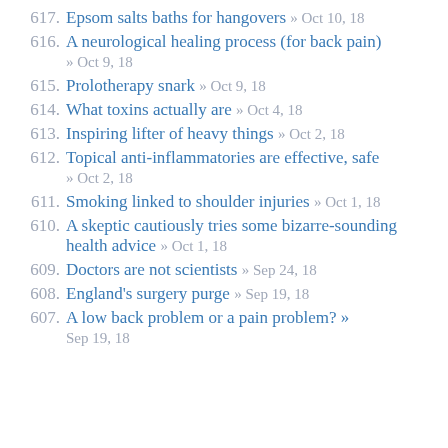617. Epsom salts baths for hangovers » Oct 10, 18
616. A neurological healing process (for back pain) » Oct 9, 18
615. Prolotherapy snark » Oct 9, 18
614. What toxins actually are » Oct 4, 18
613. Inspiring lifter of heavy things » Oct 2, 18
612. Topical anti-inflammatories are effective, safe » Oct 2, 18
611. Smoking linked to shoulder injuries » Oct 1, 18
610. A skeptic cautiously tries some bizarre-sounding health advice » Oct 1, 18
609. Doctors are not scientists » Sep 24, 18
608. England's surgery purge » Sep 19, 18
607. A low back problem or a pain problem? » Sep 19, 18